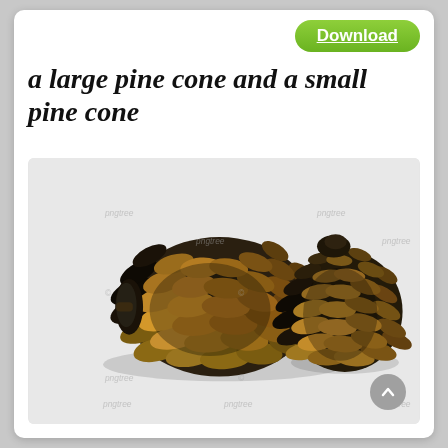a large pine cone and a small pine cone
[Figure (photo): A large pine cone and a smaller pine cone photographed against a light grey/white background. The cones are brown and dark, showing detailed scale texture. The image has watermark text 'pngtree' overlaid in multiple locations.]
Download